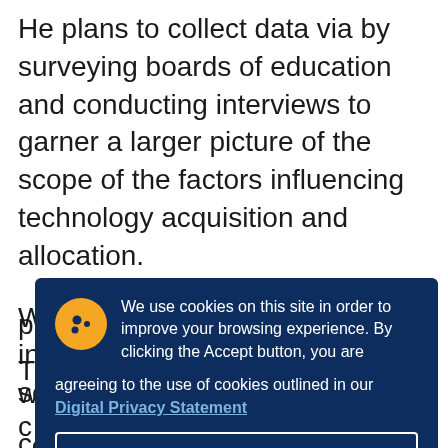He plans to collect data via by surveying boards of education and conducting interviews to garner a larger picture of the scope of the factors influencing technology acquisition and allocation.
With over 20 years' experience in the educational technologies sector himself, Lucas is well-positioned to undertake this study.
[Figure (screenshot): Cookie consent overlay with dark navy background. Shows a cookie icon (yellow circle with dots), text reading: 'We use cookies on this site in order to improve your browsing experience. By clicking the Accept button, you are agreeing to the use of cookies outlined in our Digital Privacy Statement', and an Accept button.]